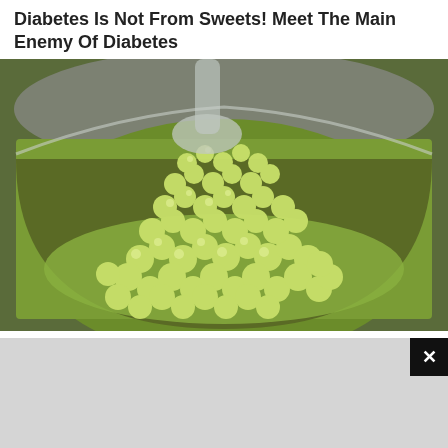Diabetes Is Not From Sweets! Meet The Main Enemy Of Diabetes
[Figure (photo): A metal bowl filled with small round pale green grape-like fruits or food items sitting in liquid, viewed from above]
Keto Diet
These 2 Vegetables Will Kill Your Belly And Arm Fat Overnight